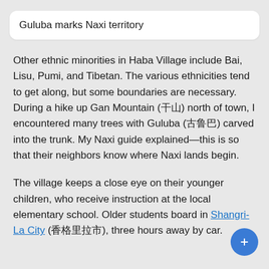Guluba marks Naxi territory
Other ethnic minorities in Haba Village include Bai, Lisu, Pumi, and Tibetan. The various ethnicities tend to get along, but some boundaries are necessary. During a hike up Gan Mountain (干山) north of town, I encountered many trees with Guluba (古鲁巴) carved into the trunk. My Naxi guide explained—this is so that their neighbors know where Naxi lands begin.
The village keeps a close eye on their younger children, who receive instruction at the local elementary school. Older students board in Shangri-La City (香格里拉市), three hours away by car.